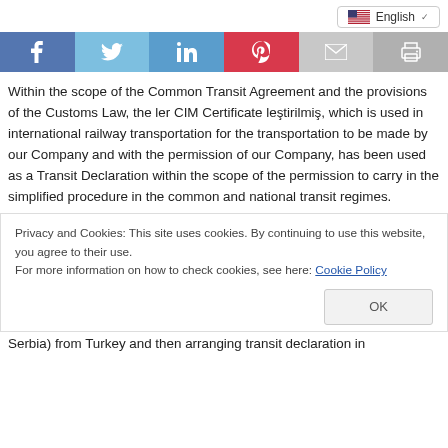English
[Figure (infographic): Social media share buttons: Facebook, Twitter, LinkedIn, Pinterest, Email, Print]
Within the scope of the Common Transit Agreement and the provisions of the Customs Law, the ler CIM Certificate leştirilmiş, which is used in international railway transportation for the transportation to be made by our Company and with the permission of our Company, has been used as a Transit Declaration within the scope of the permission to carry in the simplified procedure in the common and national transit regimes.
Privacy and Cookies: This site uses cookies. By continuing to use this website, you agree to their use. For more information on how to check cookies, see here: Cookie Policy OK
Serbia) from Turkey and then arranging transit declaration in